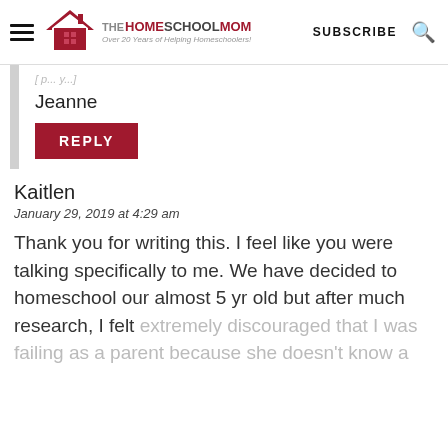THE HOMESCHOOL MOM | Over 20 Years of Helping Homeschoolers! | SUBSCRIBE
Jeanne
REPLY
Kaitlen
January 29, 2019 at 4:29 am
Thank you for writing this. I feel like you were talking specifically to me. We have decided to homeschool our almost 5 yr old but after much research, I felt extremely discouraged that I was failing as a parent because she doesn't know a